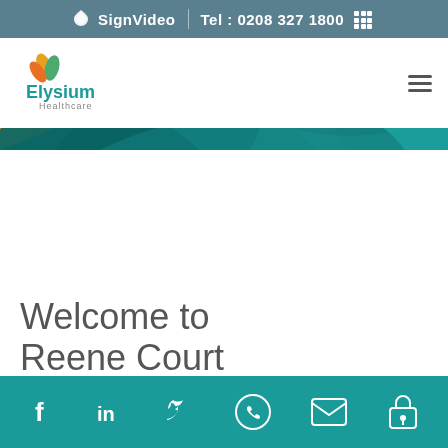SignVideo | Tel : 0208 327 1800
[Figure (logo): Elysium Healthcare logo with leaf/flame icon in orange and green, text 'Elysium Healthcare']
[Figure (illustration): Abstract teal/blue and orange/yellow decorative hero banner with overlapping curved shapes]
Welcome to Reene Court
Welcome to Reene Court
Social media and contact icons: Facebook, LinkedIn, Twitter, Phone, Email, Lock/Login